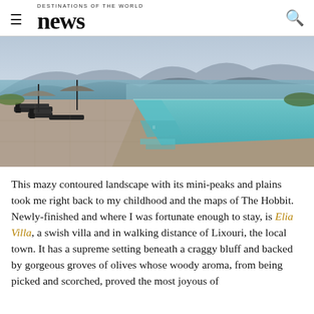DESTINATIONS OF THE WORLD news
[Figure (photo): Infinity pool overlooking a bay and mountain range, with sun loungers and umbrellas on a stone terrace]
This mazy contoured landscape with its mini-peaks and plains took me right back to my childhood and the maps of The Hobbit. Newly-finished and where I was fortunate enough to stay, is Elia Villa, a swish villa and in walking distance of Lixouri, the local town. It has a supreme setting beneath a craggy bluff and backed by gorgeous groves of olives whose woody aroma, from being picked and scorched, proved the most joyous of